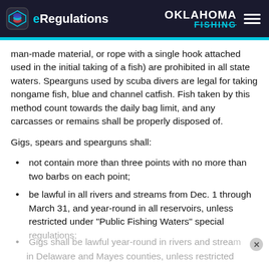eRegulations | OKLAHOMA FISHING
man-made material, or rope with a single hook attached used in the initial taking of a fish) are prohibited in all state waters. Spearguns used by scuba divers are legal for taking nongame fish, blue and channel catfish. Fish taken by this method count towards the daily bag limit, and any carcasses or remains shall be properly disposed of.
Gigs, spears and spearguns shall:
not contain more than three points with no more than two barbs on each point;
be lawful in all rivers and streams from Dec. 1 through March 31, and year-round in all reservoirs, unless restricted under "Public Fishing Waters" special regulations;
Gigs shall be lawful year-round in rivers and streams in Delaware and Mayes counties, unless restricted